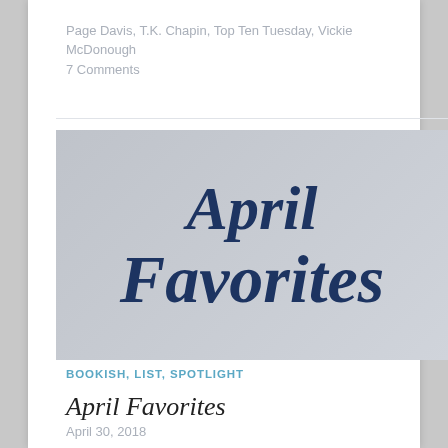Page Davis, T.K. Chapin, Top Ten Tuesday, Vickie McDonough
7 Comments
[Figure (illustration): Decorative script image with 'April Favorites' text in dark navy italic/cursive font on a light gray background]
BOOKISH, LIST, SPOTLIGHT
April Favorites
April 30, 2018
Hello, reader friends! Spring has finally sprung and we